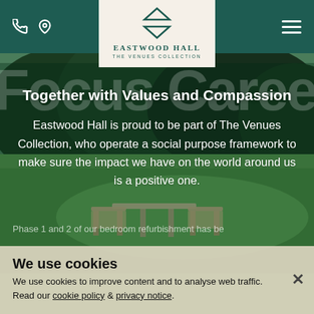[Figure (screenshot): Website screenshot of Eastwood Hall – The Venues Collection. Shows a teal navigation bar at top with phone and location icons on the left, the Eastwood Hall logo in a cream center box, and a hamburger menu icon on the right. The main section shows a garden/outdoor seating area background with white text overlay. A cookie consent banner overlays the bottom portion.]
Together with Values and Compassion
Eastwood Hall is proud to be part of The Venues Collection, who operate a social purpose framework to make sure the impact we have on the world around us is a positive one.
Phase 1 and 2 of our bedroom refurbishment has be
We use cookies
We use cookies to improve content and to analyse web traffic. Read our cookie policy & privacy notice.